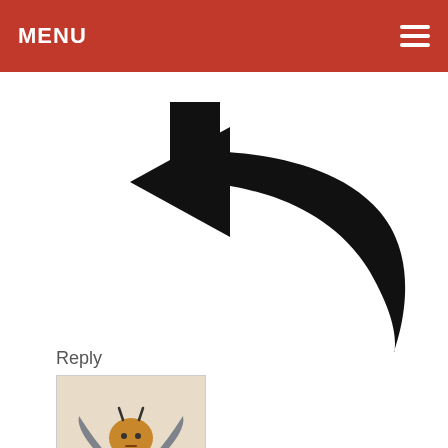MENU
[Figure (illustration): Large black curved reply/back arrow pointing left]
Reply
[Figure (illustration): Avatar image of a cartoon bat-winged creature (mascot) for user kalhoun]
kalhoun
10 years ago